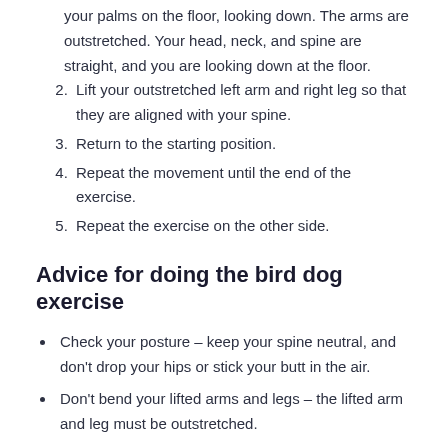your palms on the floor, looking down. The arms are outstretched. Your head, neck, and spine are straight, and you are looking down at the floor.
2. Lift your outstretched left arm and right leg so that they are aligned with your spine.
3. Return to the starting position.
4. Repeat the movement until the end of the exercise.
5. Repeat the exercise on the other side.
Advice for doing the bird dog exercise
Check your posture – keep your spine neutral, and don't drop your hips or stick your butt in the air.
Don't bend your lifted arms and legs – the lifted arm and leg must be outstretched.
Don't forget to breathe – although you're facing the floor, it is important to breathe during the whole